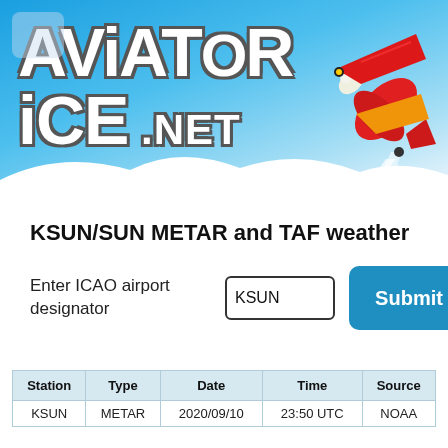[Figure (illustration): AviatorIce.net website header banner with blue sky gradient background, stylized white graffiti-style logo text reading AVIATOR ICE .NET, and a cartoon red/yellow jet airplane in the upper right with white exhaust trail.]
KSUN/SUN METAR and TAF weather
Enter ICAO airport designator
| Station | Type | Date | Time | Source |
| --- | --- | --- | --- | --- |
| KSUN | METAR | 2020/09/10 | 23:50 UTC | NOAA |